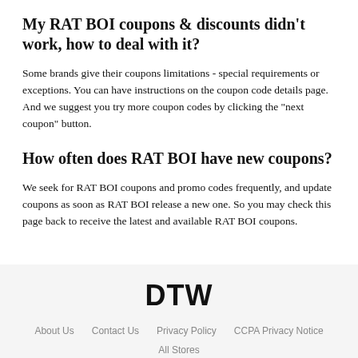My RAT BOI coupons & discounts didn't work, how to deal with it?
Some brands give their coupons limitations - special requirements or exceptions. You can have instructions on the coupon code details page. And we suggest you try more coupon codes by clicking the "next coupon" button.
How often does RAT BOI have new coupons?
We seek for RAT BOI coupons and promo codes frequently, and update coupons as soon as RAT BOI release a new one. So you may check this page back to receive the latest and available RAT BOI coupons.
DTW
About Us   Contact Us   Privacy Policy   CCPA Privacy Notice
All Stores